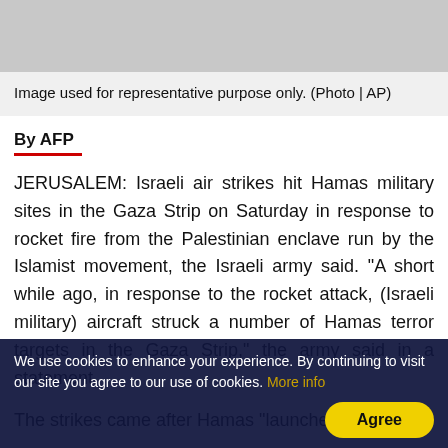[Figure (photo): Grey placeholder image used for representative purpose]
Image used for representative purpose only. (Photo | AP)
By AFP
JERUSALEM: Israeli air strikes hit Hamas military sites in the Gaza Strip on Saturday in response to rocket fire from the Palestinian enclave run by the Islamist movement, the Israeli army said. "A short while ago, in response to the rocket attack, (Israeli military) aircraft struck a number of Hamas terror targets in the Gaza Strip," the army said in a statement.
The strikes came after Hamas "launched a rocket
We use cookies to enhance your experience. By continuing to visit our site you agree to our use of cookies. More info